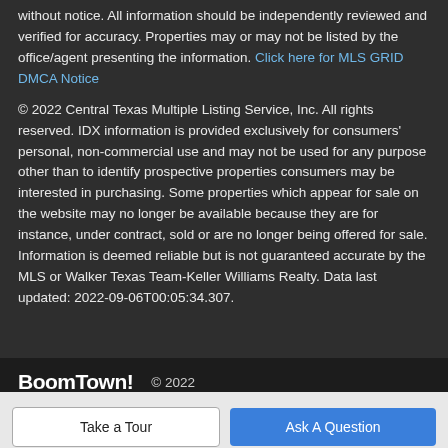without notice. All information should be independently reviewed and verified for accuracy. Properties may or may not be listed by the office/agent presenting the information. Click here for MLS GRID DMCA Notice
© 2022 Central Texas Multiple Listing Service, Inc. All rights reserved. IDX information is provided exclusively for consumers' personal, non-commercial use and may not be used for any purpose other than to identify prospective properties consumers may be interested in purchasing. Some properties which appear for sale on the website may no longer be available because they are for instance, under contract, sold or are no longer being offered for sale. Information is deemed reliable but is not guaranteed accurate by the MLS or Walker Texas Team-Keller Williams Realty. Data last updated: 2022-09-06T00:05:34.307.
BoomTown! © 2022
Take a Tour
Ask A Question